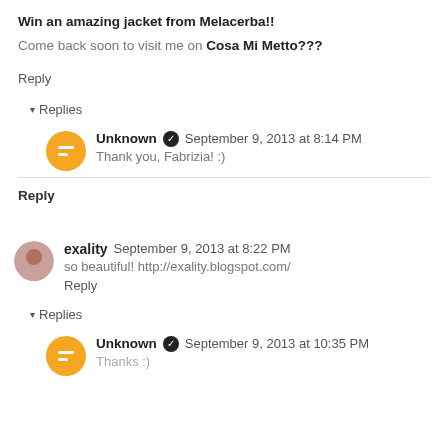Win an amazing jacket from Melacerba!! Come back soon to visit me on Cosa Mi Metto???
Reply
▾ Replies
Unknown ✓ September 9, 2013 at 8:14 PM
Thank you, Fabrizia! :)
Reply
exality September 9, 2013 at 8:22 PM
so beautiful! http://exality.blogspot.com/
Reply
▾ Replies
Unknown ✓ September 9, 2013 at 10:35 PM
Thanks :)